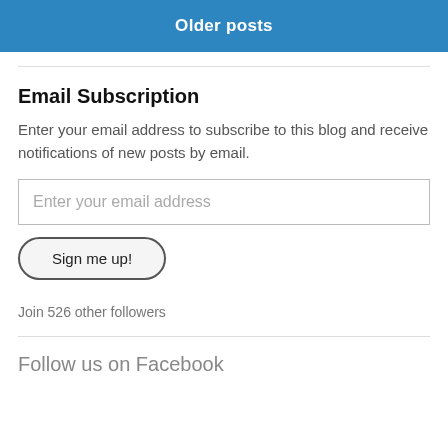Older posts
Email Subscription
Enter your email address to subscribe to this blog and receive notifications of new posts by email.
Enter your email address
Sign me up!
Join 526 other followers
Follow us on Facebook